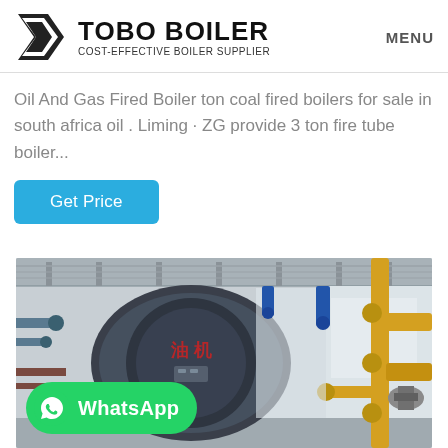TOBO BOILER COST-EFFECTIVE BOILER SUPPLIER
Oil And Gas Fired Boiler ton coal fired boilers for sale in south africa oil . Liming · ZG provide 3 ton fire tube boiler...
Get Price
[Figure (photo): Industrial boiler room showing a large cylindrical gas-fired boiler in a factory setting, with yellow gas pipes on the right side and blue piping on the left. A WhatsApp contact button overlay is visible in the lower left.]